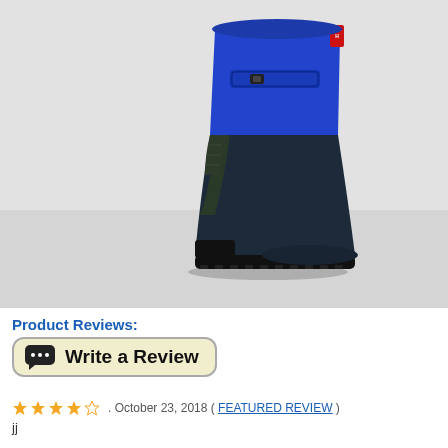[Figure (photo): A Hunter brand rain boot with two-tone blue and dark navy/black color blocking. The upper calf portion is bright cobalt blue with a buckle strap detail. The lower portion and sole are dark navy/black. The boot is photographed against a light gray background.]
Product Reviews:
[Figure (other): Write a Review button with chat bubble icon]
October 23, 2018 ( FEATURED REVIEW )
jj